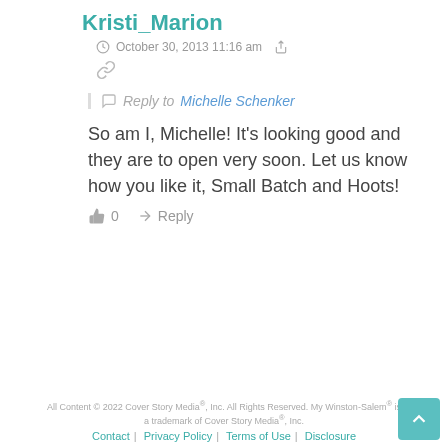Kristi_Marion
October 30, 2013 11:16 am
Reply to Michelle Schenker
So am I, Michelle! It's looking good and they are to open very soon. Let us know how you like it, Small Batch and Hoots!
0  Reply
All Content © 2022 Cover Story Media®, Inc. All Rights Reserved. My Winston-Salem® is a trademark of Cover Story Media®, Inc.
Contact | Privacy Policy | Terms of Use | Disclosure